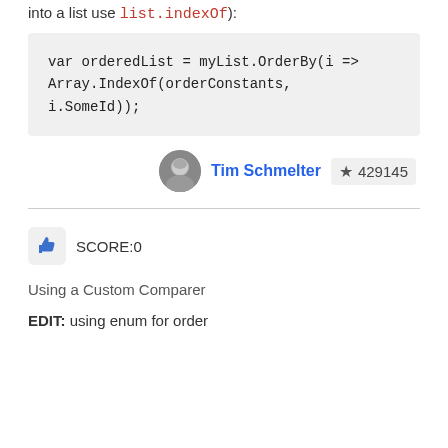into a list use list.indexOf):
[Figure (screenshot): Code block showing: var orderedList = myList.OrderBy(i => Array.IndexOf(orderConstants, i.SomeId));]
Tim Schmelter  429145
SCORE:0
Using a Custom Comparer
EDIT: using enum for order